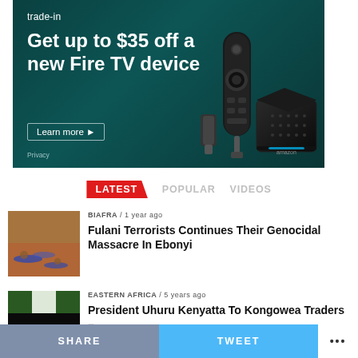[Figure (advertisement): Amazon Fire TV trade-in advertisement. Dark teal background. Text: 'trade-in', 'Get up to $35 off a new Fire TV device', 'Learn more ▸', 'Privacy'. Image of Amazon Fire TV remote and Fire TV Cube devices on right side.]
LATEST   POPULAR   VIDEOS
[Figure (photo): News article thumbnail showing bodies on red dirt ground - Biafra massacre article]
BIAFRA / 1 year ago
Fulani Terrorists Continues Their Genocidal Massacre In Ebonyi
[Figure (photo): News article thumbnail with dark image - Eastern Africa article]
EASTERN AFRICA / 5 years ago
President Uhuru Kenyatta To Kongowea Traders –
SHARE   TWEET   •••